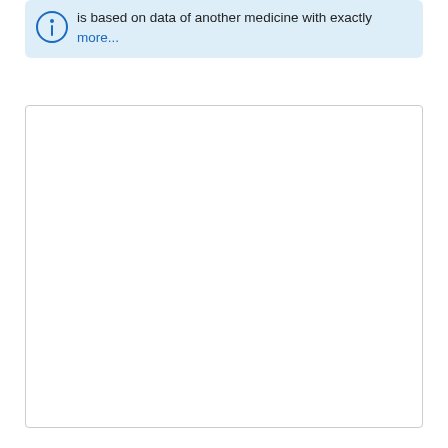is based on data of another medicine with exactly more...
[Figure (other): White content box with border, mostly empty]